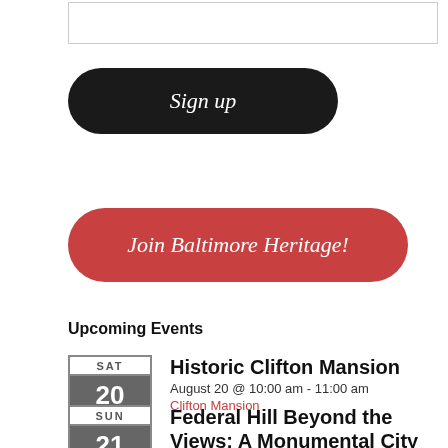[Figure (other): Empty input text box]
Sign up
Join Baltimore Heritage!
Upcoming Events
SAT 20 - Historic Clifton Mansion - August 20 @ 10:00 am - 11:00 am - Clifton Mansion
SUN 21 - Federal Hill Beyond the Views: A Monumental City Tour